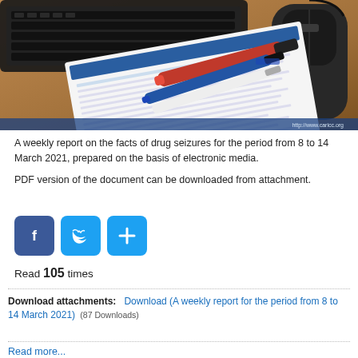[Figure (photo): Photo of a printed document with blue and red markers/pens on a wooden desk with a keyboard and computer mouse. Watermark: http://www.caricc.org]
A weekly report on the facts of drug seizures for the period from 8 to 14 March 2021, prepared on the basis of electronic media.
PDF version of the document can be downloaded from attachment.
[Figure (infographic): Social media share buttons: Facebook (blue f icon), Twitter (blue bird icon), Add/Plus (blue plus icon)]
Read 105 times
Download attachments: Download (A weekly report for the period from 8 to 14 March 2021) (87 Downloads)
Read more...